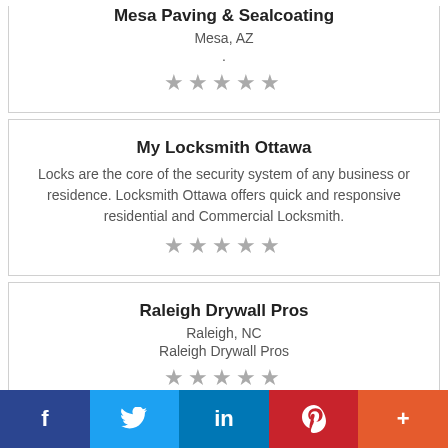Mesa Paving & Sealcoating
Mesa, AZ
.
[Figure (other): 5 gray stars rating]
My Locksmith Ottawa
Locks are the core of the security system of any business or residence. Locksmith Ottawa offers quick and responsive residential and Commercial Locksmith.
[Figure (other): 5 gray stars rating]
Raleigh Drywall Pros
Raleigh, NC
Raleigh Drywall Pros
[Figure (other): 5 gray stars rating]
f  Twitter  in  P  +